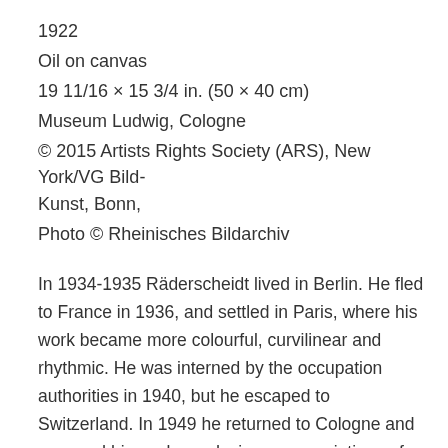1922
Oil on canvas
19 11/16 × 15 3/4 in. (50 × 40 cm)
Museum Ludwig, Cologne
© 2015 Artists Rights Society (ARS), New York/VG Bild-Kunst, Bonn,
Photo © Rheinisches Bildarchiv
In 1934-1935 Räderscheidt lived in Berlin. He fled to France in 1936, and settled in Paris, where his work became more colourful, curvilinear and rhythmic. He was interned by the occupation authorities in 1940, but he escaped to Switzerland. In 1949 he returned to Cologne and resumed his work, producing many paintings of horses shortly before adopting an abstract style in 1957.